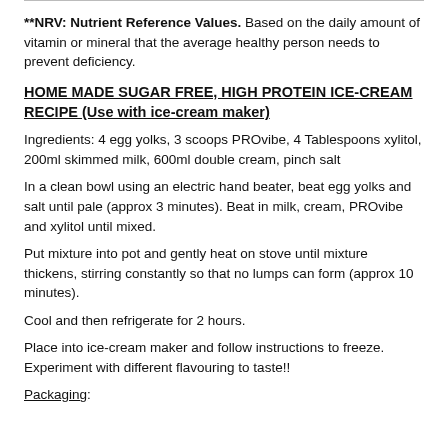**NRV: Nutrient Reference Values. Based on the daily amount of vitamin or mineral that the average healthy person needs to prevent deficiency.
HOME MADE SUGAR FREE, HIGH PROTEIN ICE-CREAM RECIPE (Use with ice-cream maker)
Ingredients:  4 egg yolks, 3 scoops PROvibe, 4 Tablespoons xylitol, 200ml skimmed milk, 600ml double cream, pinch salt
In a clean bowl using an electric hand beater, beat egg yolks and salt until pale (approx 3 minutes).  Beat in milk, cream, PROvibe and xylitol until mixed.
Put mixture into pot and gently heat on stove until mixture thickens, stirring constantly so that no lumps can form (approx 10 minutes).
Cool and then refrigerate for 2 hours.
Place into ice-cream maker and follow instructions to freeze. Experiment with different flavouring to taste!!
Packaging: